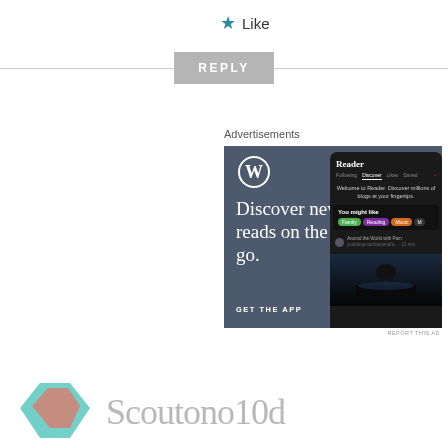Like
REPLY
Advertisements
[Figure (screenshot): WordPress Reader app advertisement. Dark blue-grey background with WordPress logo (W in circle), large serif text reading 'Discover new reads on the go.' and 'GET THE APP'. Right side shows a phone mockup of the Reader interface with 'Following', 'Discover', 'Likes', 'Saved' tabs, 'You might like' section with Family, Reading, Music tags, and 'Around the World with Pam' blog entry.]
REPORT THIS AD
[Figure (logo): Partial view of Scoutono10d logo — teal/turquoise geometric shape on the left and large grey text on the right.]